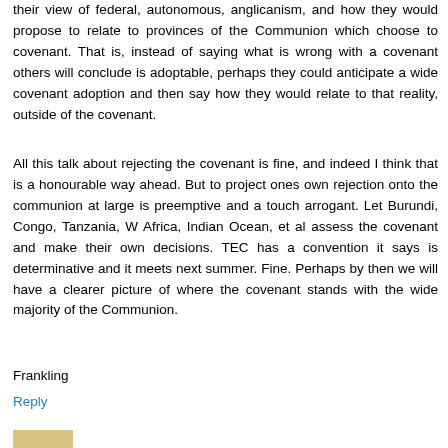their view of federal, autonomous, anglicanism, and how they would propose to relate to provinces of the Communion which choose to covenant. That is, instead of saying what is wrong with a covenant others will conclude is adoptable, perhaps they could anticipate a wide covenant adoption and then say how they would relate to that reality, outside of the covenant.
All this talk about rejecting the covenant is fine, and indeed I think that is a honourable way ahead. But to project ones own rejection onto the communion at large is preemptive and a touch arrogant. Let Burundi, Congo, Tanzania, W Africa, Indian Ocean, et al assess the covenant and make their own decisions. TEC has a convention it says is determinative and it meets next summer. Fine. Perhaps by then we will have a clearer picture of where the covenant stands with the wide majority of the Communion.
Frankling
Reply